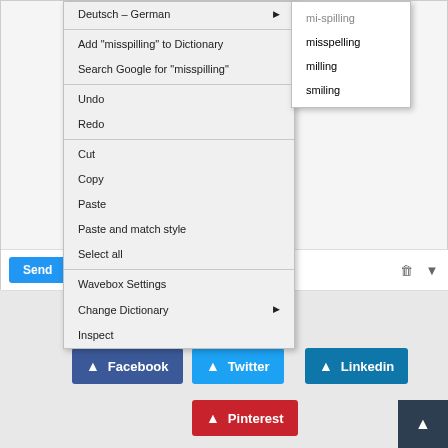[Figure (screenshot): Screenshot of a context menu in an email application showing spelling suggestions for 'misspilling', with options: Deutsch-German (submenu), Add misspilling to Dictionary, Search Google for misspilling, Undo, Redo, Cut, Copy, Paste, Paste and match style, Select all, Wavebox Settings, Change Dictionary, Inspect. A submenu shows spelling suggestions: mi-spilling, misspelling, milling, smiling. Below is a Gmail-style toolbar with Send button and formatting icons.]
Share this article
Facebook
Twitter
Linkedin
Pinterest